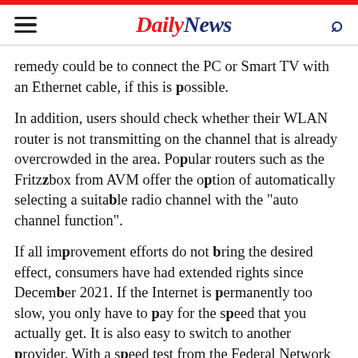Daily News
remedy could be to connect the PC or Smart TV with an Ethernet cable, if this is possible.
In addition, users should check whether their WLAN router is not transmitting on the channel that is already overcrowded in the area. Popular routers such as the Fritzbox from AVM offer the option of automatically selecting a suitable radio channel with the "auto channel function".
If all improvement efforts do not bring the desired effect, consumers have had extended rights since December 2021. If the Internet is permanently too slow, you only have to pay for the speed that you actually get. It is also easy to switch to another provider. With a speed test from the Federal Network Agency, you can measure whether the